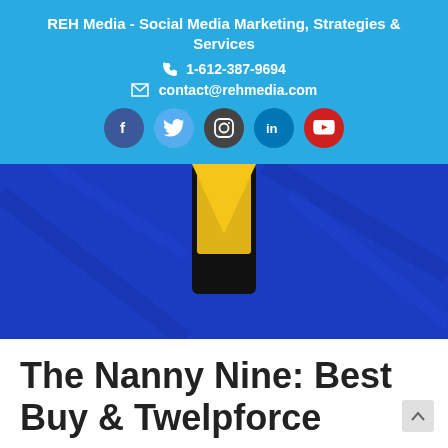REH Media - Social Media Marketing, Strategies & Services
☎ 1-612-387-9694
✉ contact@rehmedia.com
[Figure (photo): Close-up of blue knitted fabric with a yellow triangle shape and dark smartphone visible at top center]
The Nanny Nine: Best Buy & Twelpforce
January 13, 2011  lanajp  Social Media Interviews